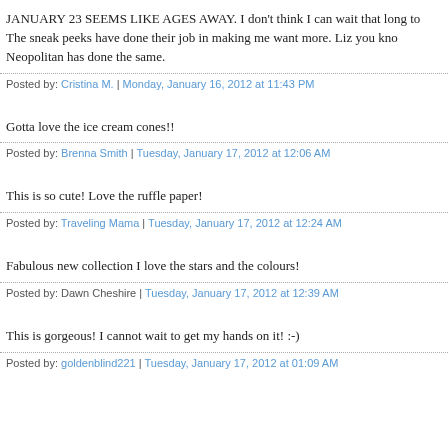JANUARY 23 SEEMS LIKE AGES AWAY. I don't think I can wait that long to The sneak peeks have done their job in making me want more. Liz you kno Neopolitan has done the same.
Posted by: Cristina M. | Monday, January 16, 2012 at 11:43 PM
Gotta love the ice cream cones!!
Posted by: Brenna Smith | Tuesday, January 17, 2012 at 12:06 AM
This is so cute! Love the ruffle paper!
Posted by: Traveling Mama | Tuesday, January 17, 2012 at 12:24 AM
Fabulous new collection I love the stars and the colours!
Posted by: Dawn Cheshire | Tuesday, January 17, 2012 at 12:39 AM
This is gorgeous! I cannot wait to get my hands on it! :-)
Posted by: goldenblind221 | Tuesday, January 17, 2012 at 01:09 AM